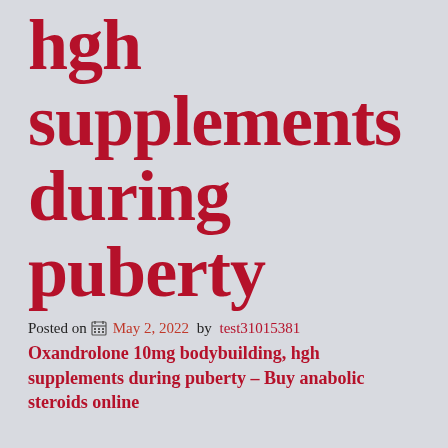hgh supplements during puberty
Posted on  May 2, 2022  by  test31015381
Oxandrolone 10mg bodybuilding, hgh supplements during puberty – Buy anabolic steroids online